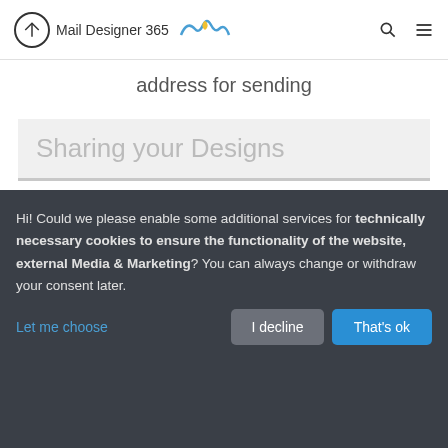Mail Designer 365
address for sending
Sharing your Designs
Converting email templates to
Hi! Could we please enable some additional services for technically necessary cookies to ensure the functionality of the website, external Media & Marketing? You can always change or withdraw your consent later.
Let me choose | I decline | That's ok